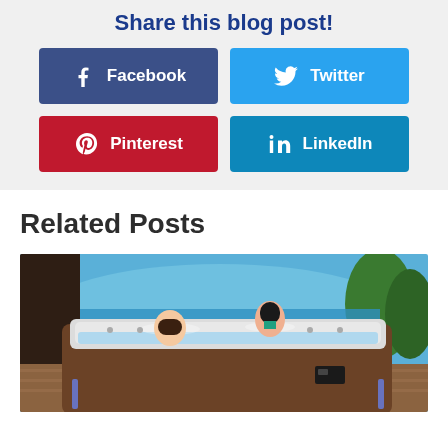Share this blog post!
[Figure (infographic): Social share buttons: Facebook (dark blue), Twitter (light blue), Pinterest (red), LinkedIn (teal blue)]
Related Posts
[Figure (photo): A couple relaxing in an outdoor hot tub with a scenic mountain and water view in the background, surrounded by trees and a wooden deck.]